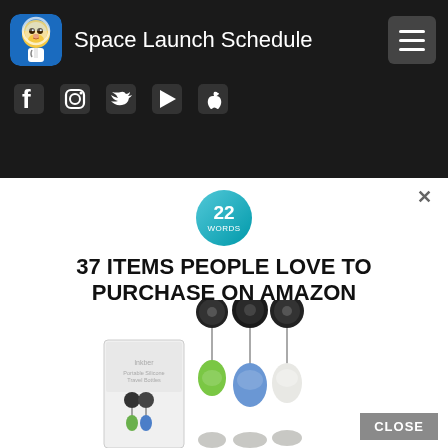Space Launch Schedule
[Figure (screenshot): Website header with Space Launch Schedule logo (monkey astronaut in circular icon), site title, hamburger menu button, and social media icons (Facebook, Instagram, Twitter, Google Play, Apple)]
[Figure (infographic): Advertisement: 22 Words badge logo, headline '37 ITEMS PEOPLE LOVE TO PURCHASE ON AMAZON', product image showing retractable badge reels with silicone travel bottles in green, blue, and white, plus product packaging box. Close button at bottom right.]